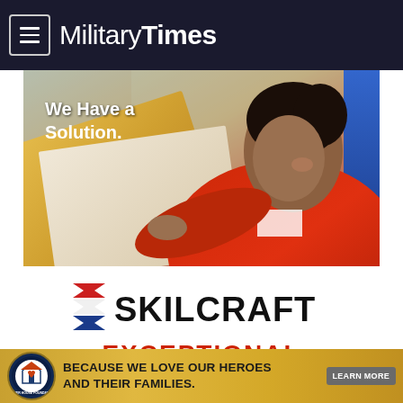Military Times
[Figure (photo): Advertisement photo: woman in red jacket holding manila folders, with text overlay 'We Have a Solution.']
[Figure (logo): SKILCRAFT logo with red/blue chevron mark and bold black text 'SKILCRAFT']
EXCEPTIONAL
[Figure (infographic): Fisher House Foundation banner ad: circular seal logo, text 'BECAUSE WE LOVE OUR HEROES AND THEIR FAMILIES.' with 'LEARN MORE' button on gold/yellow background]